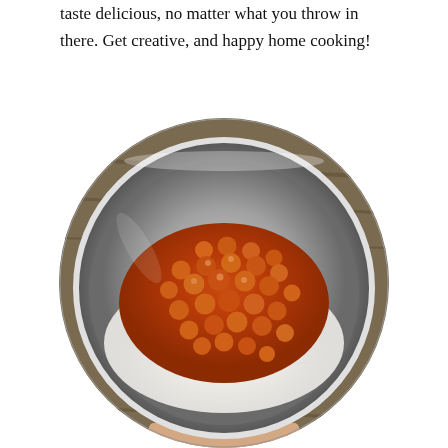taste delicious, no matter what you throw in there. Get creative, and happy home cooking!
[Figure (photo): A metal bowl photographed from above, containing white basmati rice topped with chickpeas in a rich orange-red Indian spiced tomato gravy. The bowl is held by a hand, and the background shows a wooden surface.]